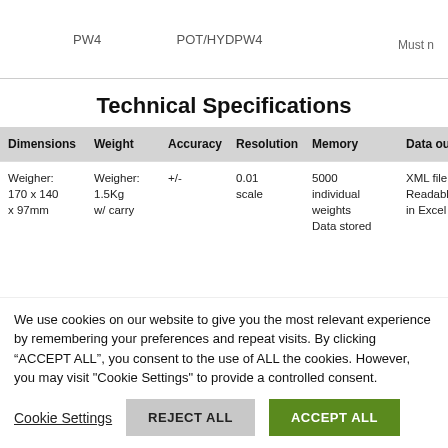| PW4 | POT/HYDPW4 | Must n... |
| --- | --- | --- |
| PW4 | POT/HYDPW4 | Must n |
Technical Specifications
| Dimensions | Weight | Accuracy | Resolution | Memory | Data output |
| --- | --- | --- | --- | --- | --- |
| Weigher:
170 x 140
x 97mm | Weigher:
1.5Kg
w/ carry | +/- | 0.01
scale | 5000
individual
weights
Data stored | XML file
Readable
in Excel |
We use cookies on our website to give you the most relevant experience by remembering your preferences and repeat visits. By clicking “ACCEPT ALL”, you consent to the use of ALL the cookies. However, you may visit "Cookie Settings" to provide a controlled consent.